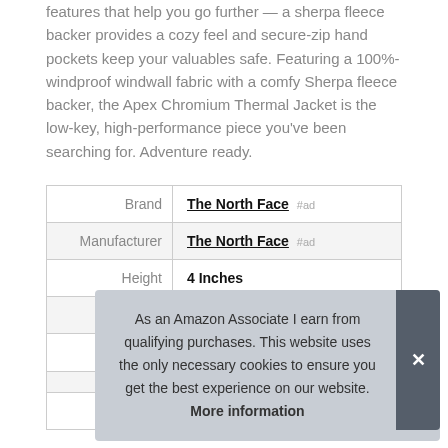features that help you go further — a sherpa fleece backer provides a cozy feel and secure-zip hand pockets keep your valuables safe. Featuring a 100%-windproof windwall fabric with a comfy Sherpa fleece backer, the Apex Chromium Thermal Jacket is the low-key, high-performance piece you've been searching for. Adventure ready.
|  |  |
| --- | --- |
| Brand | The North Face #ad |
| Manufacturer | The North Face #ad |
| Height | 4 Inches |
| Length | 24 Inches |
| P... |  |
| Model | NF0A2TBAMN8L |
As an Amazon Associate I earn from qualifying purchases. This website uses the only necessary cookies to ensure you get the best experience on our website. More information